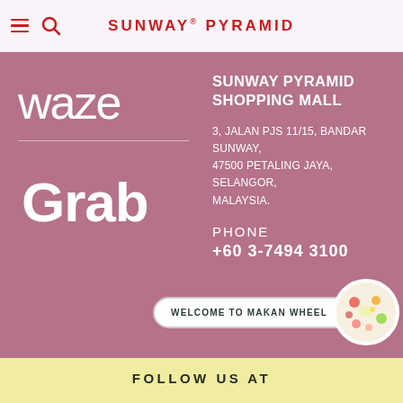SUNWAY PYRAMID
[Figure (logo): Waze logo in white text on mauve/pink background]
[Figure (logo): Grab logo in white on mauve/pink background]
SUNWAY PYRAMID SHOPPING MALL
3, JALAN PJS 11/15, BANDAR SUNWAY, 47500 PETALING JAYA, SELANGOR, MALAYSIA.
PHONE +60 3-7494 3100
[Figure (illustration): Welcome to Makan Wheel badge with circular food illustration]
FOLLOW US AT
[Figure (illustration): Social media icons: Facebook, Instagram, Pinterest/Snapchat, YouTube, LinkedIn]